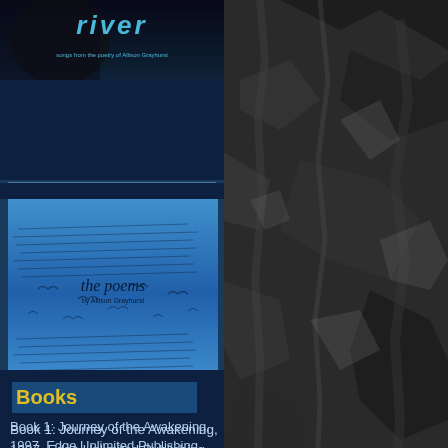[Figure (illustration): Rocky dark textured background covering the right half of the page]
[Figure (illustration): Header image with 'river' text in teal italic font, subtitle 'songs from the poetry of Allison Grayhurst', dark background with shadowy figure]
[Figure (illustration): Book cover image titled 'the poems by Allison Grayhurst', blue background with handwritten scribble patterns]
Books
Book 1: Journey of the Awakening, 1997, Edge Unlimited Publishing